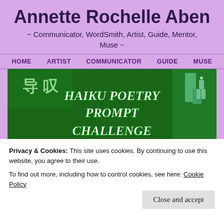Annette Rochelle Aben
~ Communicator, WordSmith, Artist, Guide, Mentor, Muse ~
HOME  ARTIST  COMMUNICATOR  GUIDE  MUSE
[Figure (screenshot): Green banner image with white/green stylized text reading 'HAIKU POETRY PROMPT CHALLENGE', with Chinese characters on the left and a decorative figure on the right]
← Angel    #Mindful Monday    CONTACT ME
Privacy & Cookies: This site uses cookies. By continuing to use this website, you agree to their use.
To find out more, including how to control cookies, see here: Cookie Policy
Close and accept
to follow this